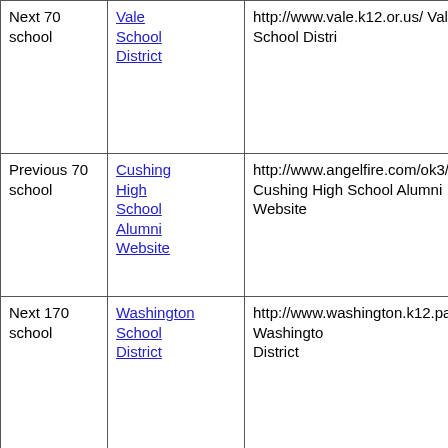| Next 70 school | Vale School District | http://www.vale.k12.or.us/ Vale School District |
| Previous 70 school | Cushing High School Alumni Website | http://www.angelfire.com/ok3/cushinghigh/si... Cushing High School Alumni Website |
| Next 170 school | Washington School District | http://www.washington.k12.pa.us/ Washington School District |
|  |  |  |